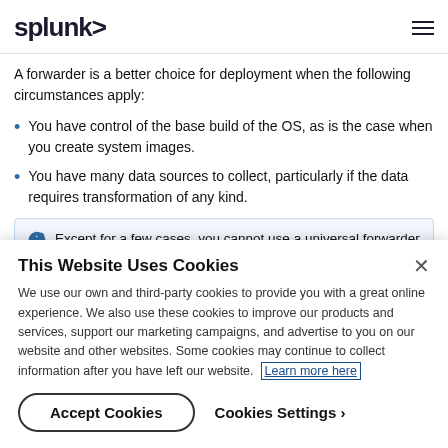splunk>
A forwarder is a better choice for deployment when the following circumstances apply:
You have control of the base build of the OS, as is the case when you create system images.
You have many data sources to collect, particularly if the data requires transformation of any kind.
Except for a few cases, you cannot use a universal forwarder to process data before it reaches the indexer. If you
This Website Uses Cookies
We use our own and third-party cookies to provide you with a great online experience. We also use these cookies to improve our products and services, support our marketing campaigns, and advertise to you on our website and other websites. Some cookies may continue to collect information after you have left our website. Learn more here
Accept Cookies
Cookies Settings ›